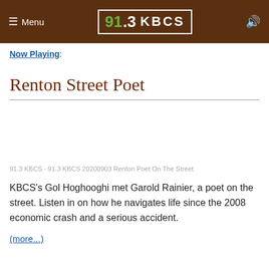≡ Menu  91.3 KBCS  🔊
Now Playing:
Renton Street Poet
91.3 KBCS · 91.3 KBCS 20200903 Renton Poet On The Street
KBCS's Gol Hoghooghi met Garold Rainier, a poet on the street. Listen in on how he navigates life since the 2008 economic crash and a serious accident.
(more...)